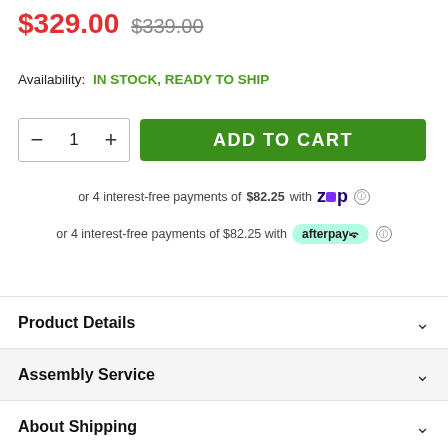$329.00  $339.00
Availability: IN STOCK, READY TO SHIP
- 1 +  ADD TO CART
or 4 interest-free payments of $82.25 with Zip
or 4 interest-free payments of $82.25 with afterpay
Product Details
Assembly Service
About Shipping